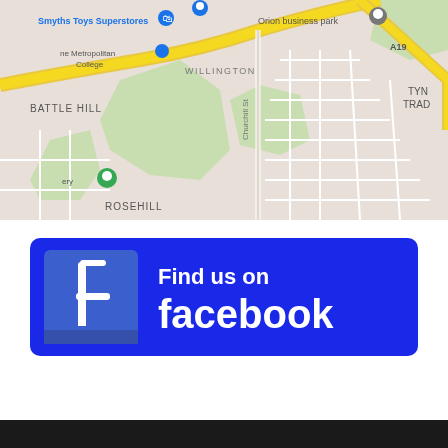[Figure (map): Google Maps screenshot showing area around Willington, Battle Hill, Rosehill, Orion business park, A19, with Smyths Toys Superstores, Metropolitan College, and other landmarks visible]
[Figure (logo): Find us on Facebook button with Facebook logo icon on blue background]